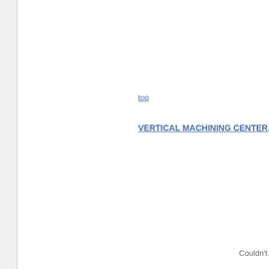top
VERTICAL MACHINING CENTER, VICTO
Couldn't loa